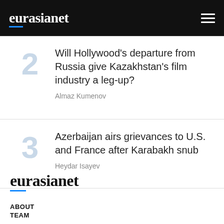eurasianet
Will Hollywood's departure from Russia give Kazakhstan's film industry a leg-up?
Almaz Kumenov
Azerbaijan airs grievances to U.S. and France after Karabakh snub
Heydar Isayev
[Figure (logo): eurasianet logo in black with blue underline accent]
ABOUT
TEAM